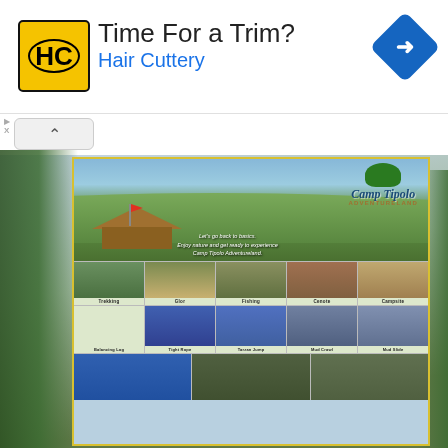[Figure (screenshot): Advertisement banner for Hair Cuttery with yellow HC logo, text 'Time For a Trim? Hair Cuttery' and a blue navigation arrow icon]
[Figure (photo): Photograph of Camp Tipolo Adventureland signboard showing the logo, tagline 'Let's go back to basics. Enjoy nature and get ready to experience Camp Tipolo Adventureland.', and a grid of activity photos including Trekking, Glор, Fishing, Cenote, Campsite, Balancing Log, Tight Rope, Tarzan Jump, Mud Crawl, Mud Slide, and three more activities in the bottom row. The sign is bordered in yellow and set against outdoor trees and sky.]